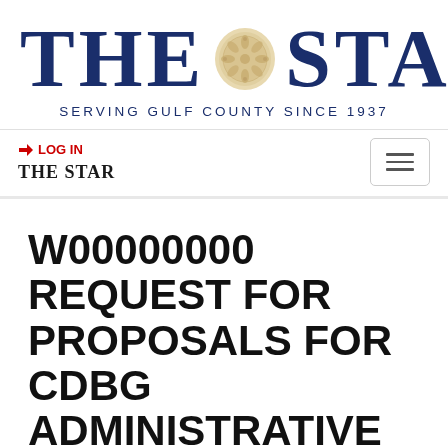[Figure (logo): The Star newspaper logo with sand dollar icon and tagline 'SERVING GULF COUNTY SINCE 1937']
LOG IN | THE STAR
W00000000 REQUEST FOR PROPOSALS FOR CDBG ADMINISTRATIVE SERVICES FOR THE